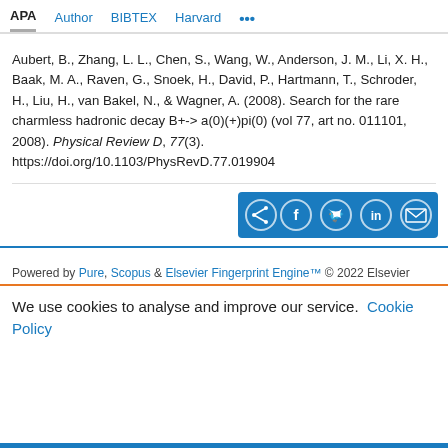APA | Author | BIBTEX | Harvard | ...
Aubert, B., Zhang, L. L., Chen, S., Wang, W., Anderson, J. M., Li, X. H., Baak, M. A., Raven, G., Snoek, H., David, P., Hartmann, T., Schroder, H., Liu, H., van Bakel, N., & Wagner, A. (2008). Search for the rare charmless hadronic decay B+-> a(0)(+)pi(0) (vol 77, art no. 011101, 2008). Physical Review D, 77(3). https://doi.org/10.1103/PhysRevD.77.019904
[Figure (infographic): Social share bar with icons for share, Facebook, Twitter, LinkedIn, and email on a blue background]
Powered by Pure, Scopus & Elsevier Fingerprint Engine™ © 2022 Elsevier
We use cookies to analyse and improve our service. Cookie Policy